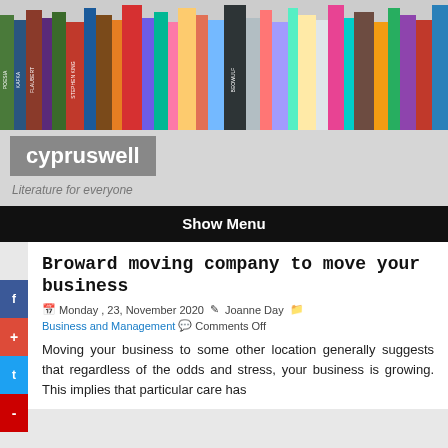[Figure (photo): Row of colorful book spines forming a banner/header image]
cypruswell
Literature for everyone
Show Menu
Broward moving company to move your business
Monday , 23, November 2020  Joanne Day  Business and Management  Comments Off
Moving your business to some other location generally suggests that regardless of the odds and stress, your business is growing. This implies that particular care has